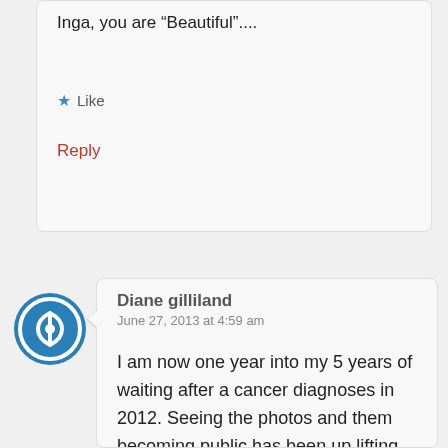Inga, you are “Beautiful”....
★ Like
Reply
Diane gilliland
June 27, 2013 at 4:59 am

I am now one year into my 5 years of waiting after a cancer diagnoses in 2012. Seeing the photos and them becoming public has been up lifting. We view wounded warriors all the time and honor them and their courage. Breast scars are hidden and discussed in whispers among a few. This will add honor to those that are